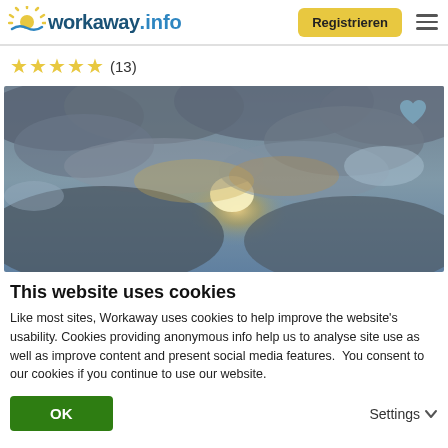workaway.info — Registrieren
★★★★★ (13)
[Figure (photo): Dramatic cloudy sky with sunlight breaking through clouds, with a heart icon overlay in the upper right corner.]
This website uses cookies
Like most sites, Workaway uses cookies to help improve the website's usability. Cookies providing anonymous info help us to analyse site use as well as improve content and present social media features.  You consent to our cookies if you continue to use our website.
OK    Settings